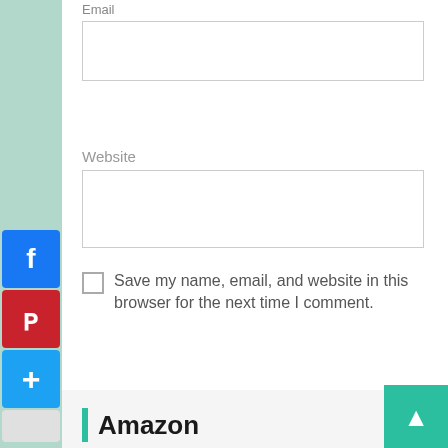[Figure (screenshot): Email input field, partially visible at top of page]
Website
[Figure (screenshot): Website input field, empty text box]
Save my name, email, and website in this browser for the next time I comment.
[Figure (screenshot): Post Comment button, teal/green color]
[Figure (screenshot): Social media sidebar buttons: Facebook, Pinterest, Plus/share, More]
Amazon
[Figure (screenshot): Scroll to top button, teal with up arrow, bottom right]